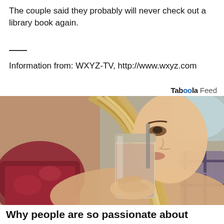The couple said they probably will never check out a library book again.
Information from: WXYZ-TV, http://www.wxyz.com
Taboola Feed
[Figure (photo): A young woman with long blonde streaked hair drinking from a mason jar with a straw, photographed in warm lighting with a blurred background.]
Why people are so passionate about